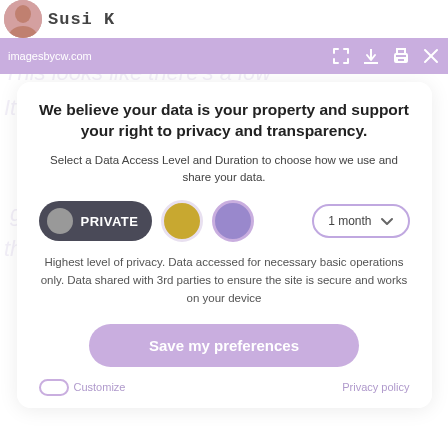Susi K — imagesbycw.com
We believe your data is your property and support your right to privacy and transparency.
Select a Data Access Level and Duration to choose how we use and share your data.
[Figure (screenshot): Privacy control row with PRIVATE button (dark pill), gold circle, purple circle, and 1 month dropdown]
Highest level of privacy. Data accessed for necessary basic operations only. Data shared with 3rd parties to ensure the site is secure and works on your device
Save my preferences
Customize   Privacy policy